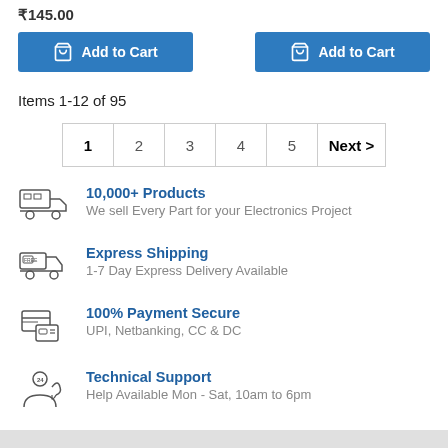₹145.00
Add to Cart
Add to Cart
Items 1-12 of 95
| 1 | 2 | 3 | 4 | 5 | Next > |
10,000+ Products
We sell Every Part for your Electronics Project
Express Shipping
1-7 Day Express Delivery Available
100% Payment Secure
UPI, Netbanking, CC & DC
Technical Support
Help Available Mon - Sat, 10am to 6pm